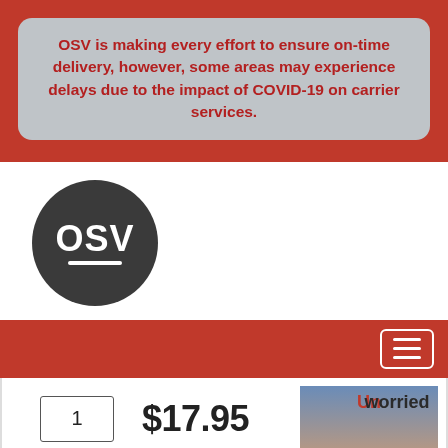OSV is making every effort to ensure on-time delivery, however, some areas may experience delays due to the impact of COVID-19 on carrier services.
[Figure (logo): OSV circular logo — dark gray circle with white 'OSV' text and white underline]
[Figure (other): Hamburger menu button (three horizontal lines) inside a white-bordered rounded rectangle on red background]
1
$17.95
Add to cart
[Figure (photo): Book cover for 'Unworried: A Life Without Anxiety' showing a child with outstretched arms wearing a coat, with dragon-wing kite, against a sunset sky]